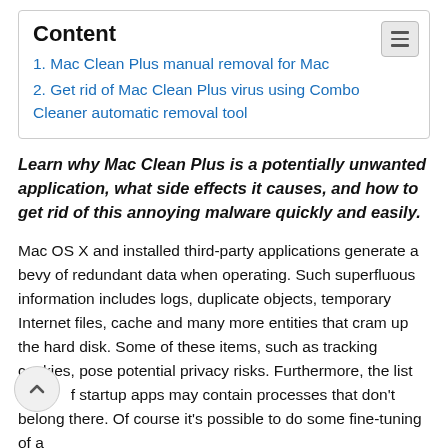| 1. Mac Clean Plus manual removal for Mac |
| 2. Get rid of Mac Clean Plus virus using Combo Cleaner automatic removal tool |
Learn why Mac Clean Plus is a potentially unwanted application, what side effects it causes, and how to get rid of this annoying malware quickly and easily.
Mac OS X and installed third-party applications generate a bevy of redundant data when operating. Such superfluous information includes logs, duplicate objects, temporary Internet files, cache and many more entities that cram up the hard disk. Some of these items, such as tracking cookies, pose potential privacy risks. Furthermore, the list of startup apps may contain processes that don't belong there. Of course it's possible to do some fine-tuning of a